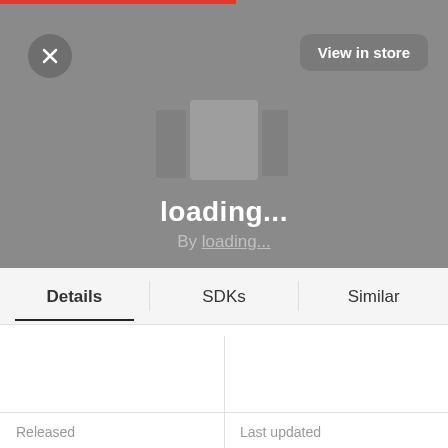[Figure (screenshot): App store detail page screenshot with gray loading banner, close button (X), View in store button, app icon placeholder, loading title and subtitle]
loading...
By loading...
Details
SDKs
Similar
Monetization
Rating
Released
Last updated